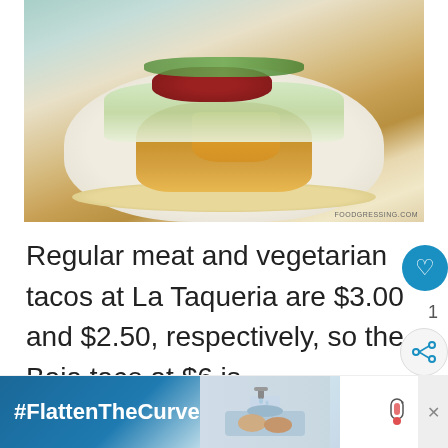[Figure (photo): A close-up food photo of a taco on a flour tortilla on a round plate, topped with shredded cabbage, red salsa, orange chipotle sauce, and fresh cilantro. Watermark reads FOODGRESSING.COM in the lower right.]
Regular meat and vegetarian tacos at La Taqueria are $3.00 and $2.50, respectively, so the Baja taco at $6 is quite expensive, but for the taste, it d
[Figure (other): Advertisement banner showing #FlattenTheCurve text on blue background with image of hands washing at a sink, and a close X button.]